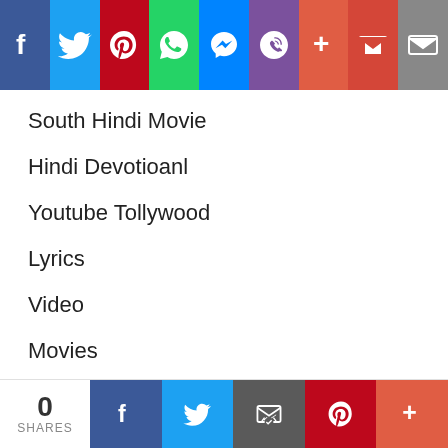[Figure (screenshot): Top social sharing toolbar with icons for Facebook, Twitter, Pinterest, WhatsApp, Messenger, Viber, Plus, Gmail, Email]
South Hindi Movie
Hindi Devotioanl
Youtube Tollywood
Lyrics
Video
Movies
Aarti
Reviews
TollyWood Music
[Figure (screenshot): Bottom sharing bar showing 0 SHARES and icons for Facebook, Twitter, Email, Pinterest, Plus]